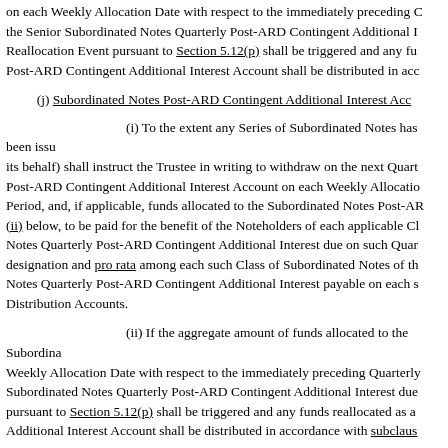on each Weekly Allocation Date with respect to the immediately preceding Quarterly Period, the Senior Subordinated Notes Quarterly Post-ARD Contingent Additional Interest Account. A Reallocation Event pursuant to Section 5.12(p) shall be triggered and any funds in the Senior Notes Post-ARD Contingent Additional Interest Account shall be distributed in accordance with...
(j) Subordinated Notes Post-ARD Contingent Additional Interest Account
(i) To the extent any Series of Subordinated Notes has been issued, the Servicer (or its behalf) shall instruct the Trustee in writing to withdraw on the next Quarterly Distribution Date funds in the Subordinated Notes Post-ARD Contingent Additional Interest Account on each Weekly Allocation Date during the related Quarterly Period, and, if applicable, funds allocated to the Subordinated Notes Post-ARD Contingent Additional Interest Account pursuant to (ii) below, to be paid for the benefit of the Noteholders of each applicable Class of Subordinated Notes Quarterly Post-ARD Contingent Additional Interest due on such Quarterly Distribution Date, pro rata by designation and pro rata among each such Class of Subordinated Notes of the Subordinated Notes Quarterly Post-ARD Contingent Additional Interest payable on each such date, into the relevant Distribution Accounts.
(ii) If the aggregate amount of funds allocated to the Subordinated Notes on each Weekly Allocation Date with respect to the immediately preceding Quarterly Period is less than the Subordinated Notes Quarterly Post-ARD Contingent Additional Interest due on the next Quarterly Distribution Date, a Reallocation Event pursuant to Section 5.12(p) shall be triggered and any funds reallocated as a result to the Subordinated Notes Post-ARD Contingent Additional Interest Account shall be distributed in accordance with subclause...
(k) Amounts on Deposit in the Senior Notes Interest Reserve Account and the Cash Trap Reserve Account.
(i) On each Weekly Allocation Date that is a Cash Trapping Release Date, the Certificate, shall withdraw on such Weekly Allocation Date from funds on deposit in the applicable Cash Trapping Release Amount and deposit such funds into the Certificate Payments on the next following Weekly Allocation Date. On the first Weekly Amortization Period (including any Rapid Amortization Period) dates Payments...